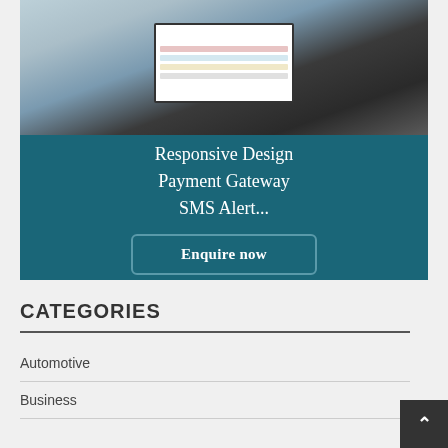[Figure (screenshot): Laptop computer showing an e-commerce website on screen, photographed from above on a grey surface. Below the laptop photo is a teal/dark blue panel with white serif text reading 'Responsive Design Payment Gateway SMS Alert...' and a button labeled 'Enquire now'.]
CATEGORIES
Automotive
Business